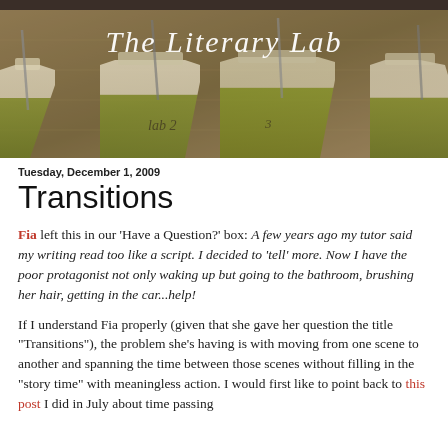[Figure (photo): Banner image for 'The Literary Lab' blog showing laboratory flasks with green liquid, with cursive white text overlay reading 'The Literary Lab']
Tuesday, December 1, 2009
Transitions
Fia left this in our 'Have a Question?' box: A few years ago my tutor said my writing read too like a script. I decided to 'tell' more. Now I have the poor protagonist not only waking up but going to the bathroom, brushing her hair, getting in the car...help!
If I understand Fia properly (given that she gave her question the title "Transitions"), the problem she's having is with moving from one scene to another and spanning the time between those scenes without filling in the "story time" with meaningless action. I would first like to point back to this post I did in July about time passing